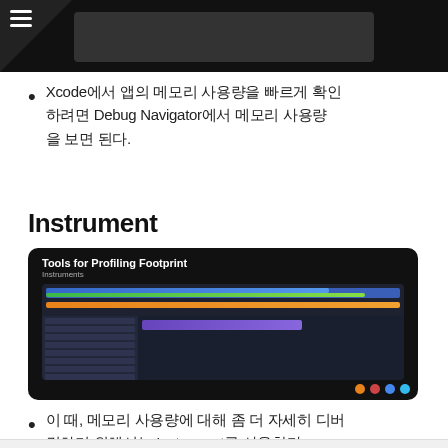[Figure (screenshot): Top dark header area with hamburger menu icon and a dark screenshot of a profiling tool]
Xcode에서 앱의 메모리 사용량을 빠르게 확인하려면 Debug Navigator에서 메모리 사용량을 보면 된다.
Instrument
[Figure (screenshot): Dark slide showing 'Tools for Profiling Footprint' with Instruments subtitle, and a screenshot of Instruments app showing colored bars (blue, green, orange) and a data table with purple bar. Navigation dots at bottom right: orange, red, blue, cyan.]
이 때, 메모리 사용량에 대해 좀 더 자세히 디버깅하기 위해서는 Instrument를 사용한다.